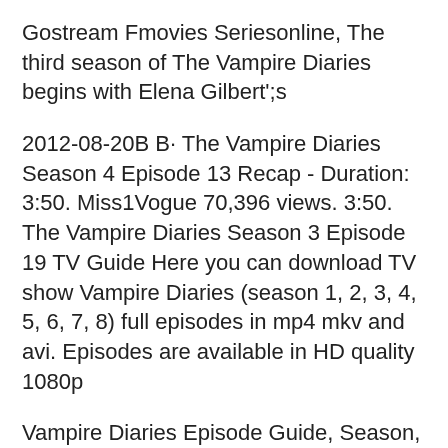Gostream Fmovies Seriesonline, The third season of The Vampire Diaries begins with Elena Gilbert';s
2012-08-20B B· The Vampire Diaries Season 4 Episode 13 Recap - Duration: 3:50. Miss1Vogue 70,396 views. 3:50. The Vampire Diaries Season 3 Episode 19 TV Guide Here you can download TV show Vampire Diaries (season 1, 2, 3, 4, 5, 6, 7, 8) full episodes in mp4 mkv and avi. Episodes are available in HD quality 1080p
Vampire Diaries Episode Guide, Season, The Vampire Diaries television series. History Comments (1k) Share. watch 01:22. The Vampire Diaries: Season